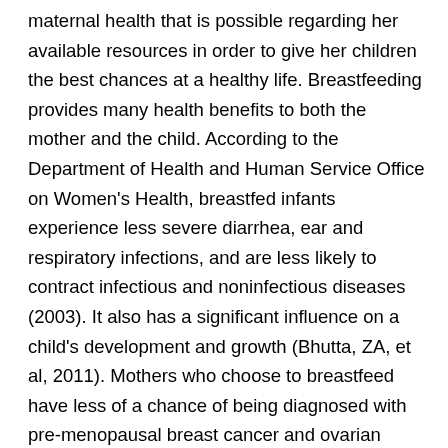maternal health that is possible regarding her available resources in order to give her children the best chances at a healthy life. Breastfeeding provides many health benefits to both the mother and the child. According to the Department of Health and Human Service Office on Women's Health, breastfed infants experience less severe diarrhea, ear and respiratory infections, and are less likely to contract infectious and noninfectious diseases (2003). It also has a significant influence on a child's development and growth (Bhutta, ZA, et al, 2011). Mothers who choose to breastfeed have less of a chance of being diagnosed with pre-menopausal breast cancer and ovarian cancer, experience less bleeding after giving birth, and are able to return to their pre-pregnancy weight at a quicker rate (2003). Breastfeeding is also a way for mothers to feed their children at an extremely low cost compared to formula. However, mothers